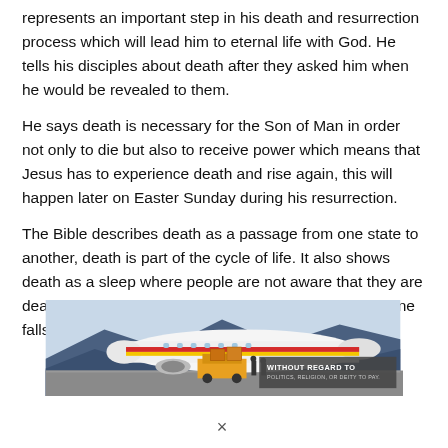represents an important step in his death and resurrection process which will lead him to eternal life with God. He tells his disciples about death after they asked him when he would be revealed to them.
He says death is necessary for the Son of Man in order not only to die but also to receive power which means that Jesus has to experience death and rise again, this will happen later on Easter Sunday during his resurrection.
The Bible describes death as a passage from one state to another, death is part of the cycle of life. It also shows death as a sleep where people are not aware that they are dead which could happen after an accident or if someone falls
[Figure (photo): Advertisement banner showing a Southwest Airlines aircraft being loaded with cargo on the tarmac, with overlay text reading 'WITHOUT REGARD TO POLITICS, RELIGION, OR DEITY TO PAY.']
×